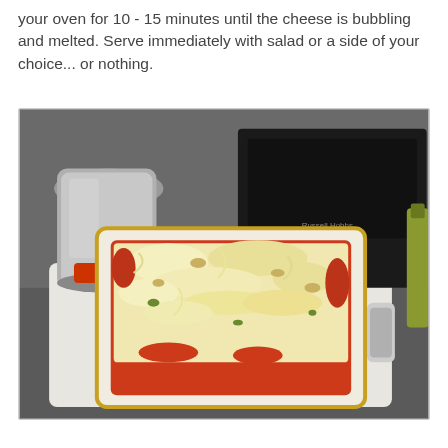your oven for 10 - 15 minutes until the cheese is bubbling and melted. Serve immediately with salad or a side of your choice... or nothing.
[Figure (photo): A baked casserole dish with melted cheese and tomato sauce on top, sitting on a white cutting board on a kitchen counter. A stainless steel kettle and a black Russell Hobbs appliance are visible in the background.]